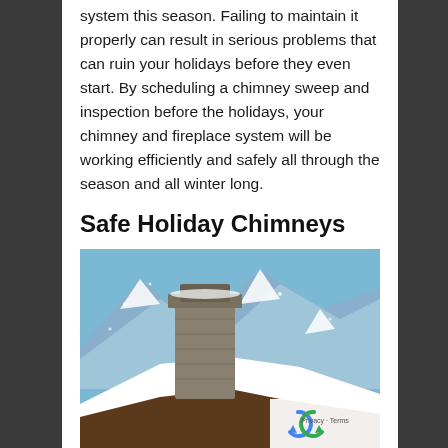system this season. Failing to maintain it properly can result in serious problems that can ruin your holidays before they even start. By scheduling a chimney sweep and inspection before the holidays, your chimney and fireplace system will be working efficiently and safely all through the season and all winter long.
Safe Holiday Chimneys
[Figure (photo): A snow-covered chimney on a wooden cabin roof with snowy mountain peaks in the background under a blue sky.]